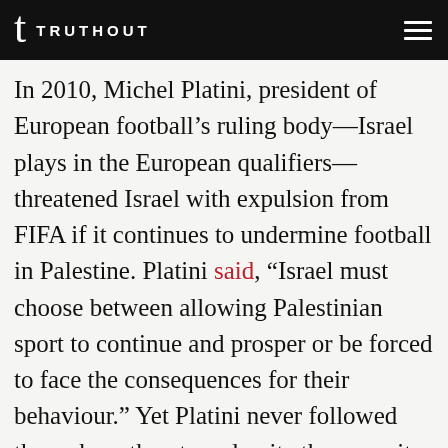TRUTHOUT
In 2010, Michel Platini, president of European football’s ruling body—Israel plays in the European qualifiers—threatened Israel with expulsion from FIFA if it continues to undermine football in Palestine. Platini said, “Israel must choose between allowing Palestinian sport to continue and prosper or be forced to face the consequences for their behaviour.” Yet Platini never followed through on threats and quite the opposite, awarded Israel the 2013 Under-21 European Championships.